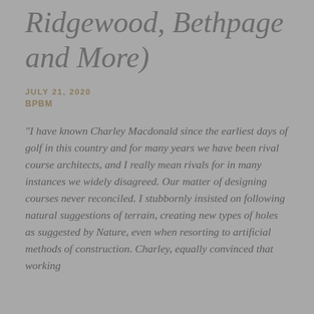Ridgewood, Bethpage and More)
JULY 21, 2020
BPBM
“I have known Charley Macdonald since the earliest days of golf in this country and for many years we have been rival course architects, and I really mean rivals for in many instances we widely disagreed. Our matter of designing courses never reconciled. I stubbornly insisted on following natural suggestions of terrain, creating new types of holes as suggested by Nature, even when resorting to artificial methods of construction. Charley, equally convinced that working